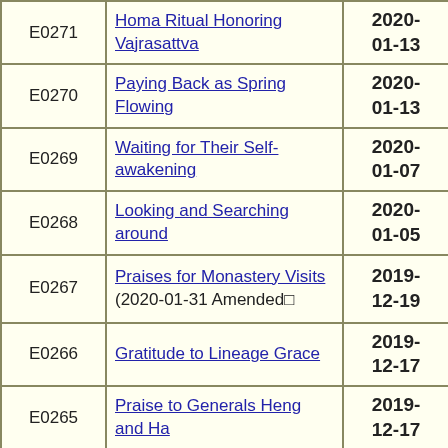| ID | Title | Date |
| --- | --- | --- |
| E0271 | Homa Ritual Honoring Vajrasattva | 2020-01-13 |
| E0270 | Paying Back as Spring Flowing | 2020-01-13 |
| E0269 | Waiting for Their Self-awakening | 2020-01-07 |
| E0268 | Looking and Searching around | 2020-01-05 |
| E0267 | Praises for Monastery Visits (2020-01-31 Amended) | 2019-12-19 |
| E0266 | Gratitude to Lineage Grace | 2019-12-17 |
| E0265 | Praise to Generals Heng and Ha | 2019-12-17 |
| E0264 / PE0264 | Mixing into Harmony / Łączenie w harmoni | 2019-12-15 |
| E0263 | Realizing Impermanence | 2019-12-08 |
| E0262 | Transcendence in Totality | 2019-11-11 |